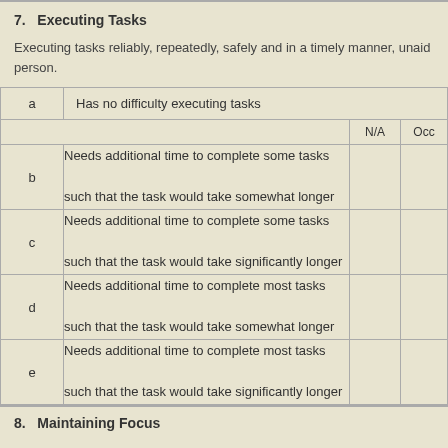7. Executing Tasks
Executing tasks reliably, repeatedly, safely and in a timely manner, unaided by another person.
|  | Description | N/A | Occ |
| --- | --- | --- | --- |
| a | Has no difficulty executing tasks |  |  |
|  |  | N/A | Occ |
| b | Needs additional time to complete some tasks such that the task would take somewhat longer |  |  |
| c | Needs additional time to complete some tasks such that the task would take significantly longer |  |  |
| d | Needs additional time to complete most tasks such that the task would take somewhat longer |  |  |
| e | Needs additional time to complete most tasks such that the task would take significantly longer |  |  |
8. Maintaining Focus